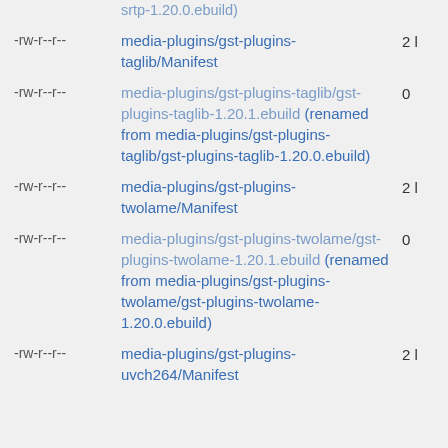|  | srtp-1.20.0.ebuild) |  |
| -rw-r--r-- | media-plugins/gst-plugins-taglib/Manifest | 2 l |
| -rw-r--r-- | media-plugins/gst-plugins-taglib/gst-plugins-taglib-1.20.1.ebuild (renamed from media-plugins/gst-plugins-taglib/gst-plugins-taglib-1.20.0.ebuild) | 0 |
| -rw-r--r-- | media-plugins/gst-plugins-twolame/Manifest | 2 l |
| -rw-r--r-- | media-plugins/gst-plugins-twolame/gst-plugins-twolame-1.20.1.ebuild (renamed from media-plugins/gst-plugins-twolame/gst-plugins-twolame-1.20.0.ebuild) | 0 |
| -rw-r--r-- | media-plugins/gst-plugins-uvch264/Manifest | 2 l |